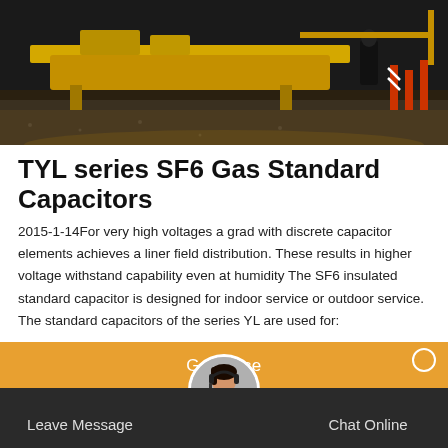[Figure (photo): Construction or industrial scene showing a yellow equipment/machinery platform with workers or figures, shot outdoors at dusk or night with barrier cones visible.]
TYL series SF6 Gas Standard Capacitors
2015-1-14For very high voltages a grad with discrete capacitor elements achieves a liner field distribution. These results in higher voltage withstand capability even at humidity The SF6 insulated standard capacitor is designed for indoor service or outdoor service. The standard capacitors of the series YL are used for:
[Figure (other): Orange 'Get Price' button bar with a customer service representative avatar overlapping the bottom bar.]
Leave Message   Chat Online